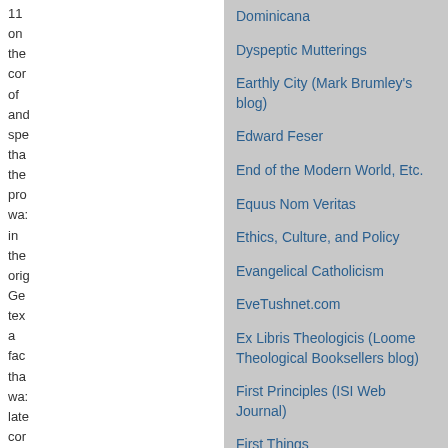11 on the cor of and spe tha the pro wa: in the orig Ge tex a fac tha wa: late cor by
Dominicana
Dyspeptic Mutterings
Earthly City (Mark Brumley's blog)
Edward Feser
End of the Modern World, Etc.
Equus Nom Veritas
Ethics, Culture, and Policy
Evangelical Catholicism
EveTushnet.com
Ex Libris Theologicis (Loome Theological Booksellers blog)
First Principles (ISI Web Journal)
First Things